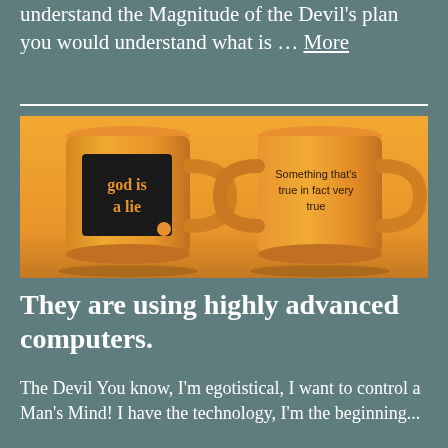This is a Religious Gathering if you could understand the Magnitude of the Devil's plan you would understand what is … More
[Figure (photo): Two orange mugs side by side against an orange/yellow background. Left mug has a black label reading 'god is a lie' in orange serif text. Right mug reads 'Something that's true in fact very true' in dark text.]
They are using highly advanced computers.
The Devil You know, I'm egotistical, I want to control a Man's Mind!  I have the technology, I'm the beginning...